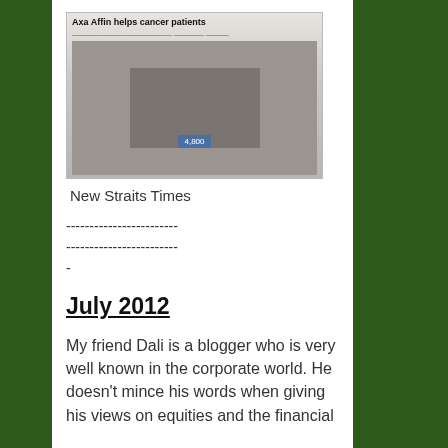[Figure (photo): Newspaper clipping with headline 'Axa Affin helps cancer patients' showing people holding a cheque]
New Straits Times
------------------------
------------------------
-
July 2012
My friend Dali is a blogger who is very well known in the corporate world. He doesn't mince his words when giving his views on equities and the financial